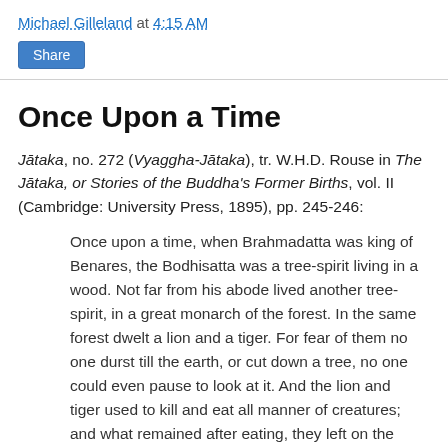Michael Gilleland at 4:15 AM
Share
Once Upon a Time
Jātaka, no. 272 (Vyaggha-Jātaka), tr. W.H.D. Rouse in The Jātaka, or Stories of the Buddha's Former Births, vol. II (Cambridge: University Press, 1895), pp. 245-246:
Once upon a time, when Brahmadatta was king of Benares, the Bodhisatta was a tree-spirit living in a wood. Not far from his abode lived another tree-spirit, in a great monarch of the forest. In the same forest dwelt a lion and a tiger. For fear of them no one durst till the earth, or cut down a tree, no one could even pause to look at it. And the lion and tiger used to kill and eat all manner of creatures; and what remained after eating, they left on the spot and departed, so that the forest was full of foul decaying stench.